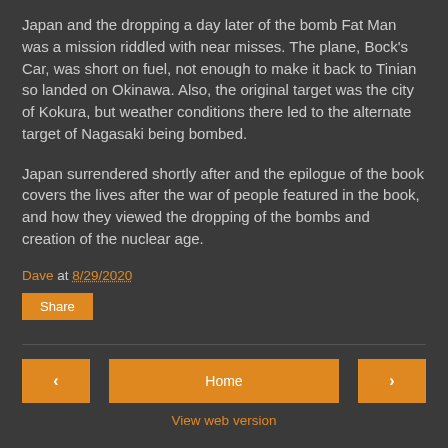Japan and the dropping a day later of the bomb Fat Man was a mission riddled with near misses. The plane, Bock's Car, was short on fuel, not enough to make it back to Tinian so landed on Okinawa. Also, the original target was the city of Kokura, but weather conditions there led to the alternate target of Nagasaki being bombed.
Japan surrendered shortly after and the epilogue of the book covers the lives after the war of people featured in the book, and how they viewed the dropping of the bombs and creation of the nuclear age.
Dave at 8/29/2020
Share
‹
Home
›
View web version